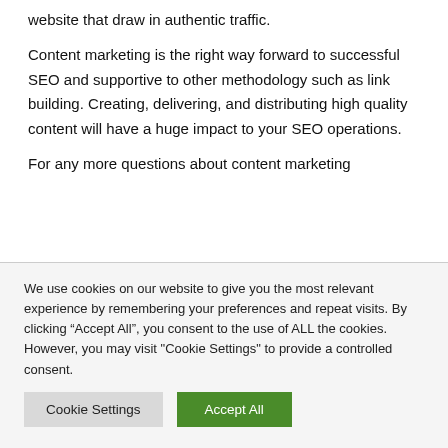website that draw in authentic traffic.
Content marketing is the right way forward to successful SEO and supportive to other methodology such as link building. Creating, delivering, and distributing high quality content will have a huge impact to your SEO operations.
For any more questions about content marketing
We use cookies on our website to give you the most relevant experience by remembering your preferences and repeat visits. By clicking “Accept All”, you consent to the use of ALL the cookies. However, you may visit "Cookie Settings" to provide a controlled consent.